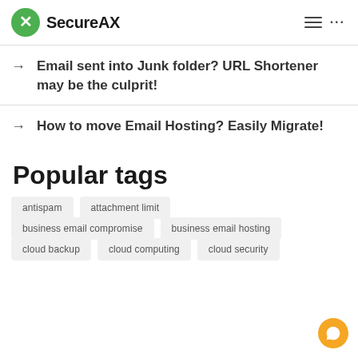SecureAX
Email sent into Junk folder? URL Shortener may be the culprit!
How to move Email Hosting? Easily Migrate!
Popular tags
antispam
attachment limit
business email compromise
business email hosting
cloud backup
cloud computing
cloud security